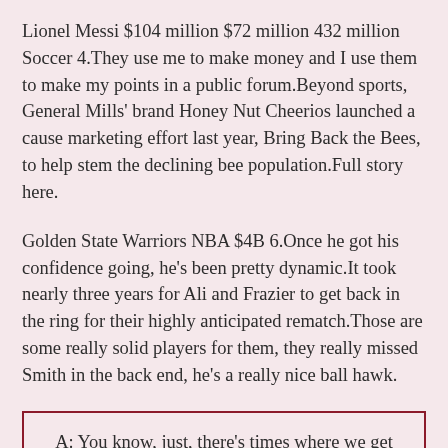Lionel Messi $104 million $72 million 432 million Soccer 4.They use me to make money and I use them to make my points in a public forum.Beyond sports, General Mills' brand Honey Nut Cheerios launched a cause marketing effort last year, Bring Back the Bees, to help stem the declining bee population.Full story here.
Golden State Warriors NBA $4B 6.Once he got his confidence going, he's been pretty dynamic.It took nearly three years for Ali and Frazier to get back in the ring for their highly anticipated rematch.Those are some really solid players for them, they really missed Smith in the back end, he's a really nice ball hawk.
A: You know, just, there's times where we get something going and we have a penalty or we would drop the ball or we would get sacked or